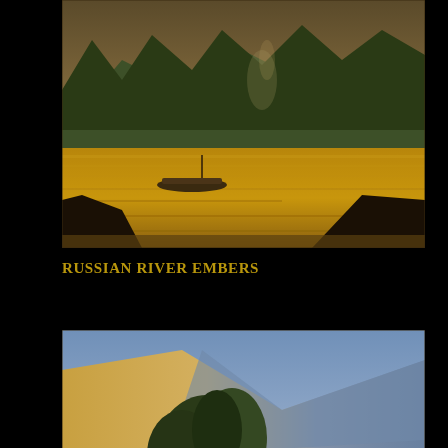[Figure (illustration): Oil painting of a river scene at dusk/dawn with a small boat on calm golden water, forested mountains in background, smoke rising from trees — Russian River Embers]
RUSSIAN RIVER EMBERS
[Figure (illustration): Oil painting of a coastal landscape with trees casting morning shadows on golden hills, likely Sonoma Coast — Morning Shadows, Sonoma Coast]
MORNING SHADOWS, SONOMA COAST
[Figure (illustration): Oil painting partially visible at bottom of page, showing a landscape with clouds and green hills]